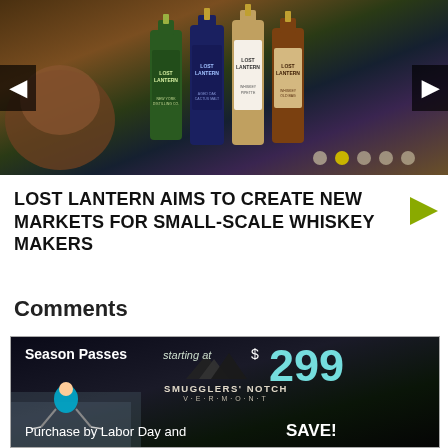[Figure (photo): Slideshow of Lost Lantern whiskey bottles — multiple labeled bottles (green, blue, white, amber/dark) arranged together, with left/right navigation arrows and dot indicators at bottom right. Currently showing second dot as active.]
LOST LANTERN AIMS TO CREATE NEW MARKETS FOR SMALL-SCALE WHISKEY MAKERS
Comments
Comments are closed.
[Figure (photo): Advertisement banner for Smugglers' Notch Vermont. Text reads: Season Passes starting at $299. Smugglers' Notch Vermont logo with mountain peaks. Purchase by Labor Day and SAVE! Background shows skier on snowy slope.]